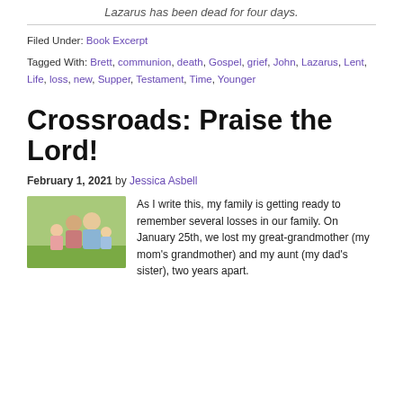Lazarus has been dead for four days.
Filed Under: Book Excerpt
Tagged With: Brett, communion, death, Gospel, grief, John, Lazarus, Lent, Life, loss, new, Supper, Testament, Time, Younger
Crossroads: Praise the Lord!
February 1, 2021 by Jessica Asbell
[Figure (photo): Family photo showing a couple with children smiling outdoors]
As I write this, my family is getting ready to remember several losses in our family. On January 25th, we lost my great-grandmother (my mom's grandmother) and my aunt (my dad's sister), two years apart.